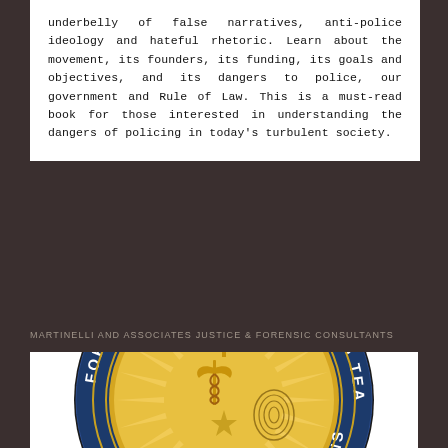underbelly of false narratives, anti-police ideology and hateful rhetoric. Learn about the movement, its founders, its funding, its goals and objectives, and its dangers to police, our government and Rule of Law. This is a must-read book for those interested in understanding the dangers of policing in today's turbulent society.
MARTINELLI AND ASSOCIATES JUSTICE & FORENSIC CONSULTANTS
[Figure (logo): Circular seal/badge for Forensic Death Investigations Team, featuring scales of justice over a sunburst background, with a caduceus and fingerprint, surrounded by blue ring with gold text reading FORENSIC DEATH INVESTIGATIONS TEA[M]]